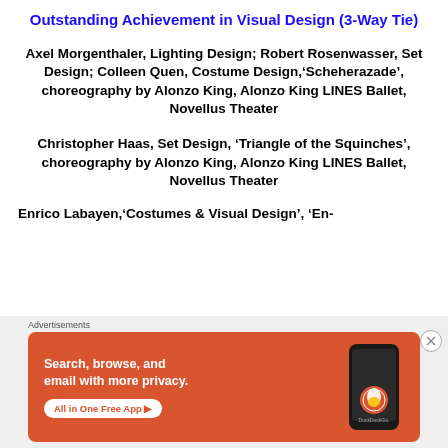Outstanding Achievement in Visual Design (3-Way Tie)
Axel Morgenthaler, Lighting Design; Robert Rosenwasser, Set Design; Colleen Quen, Costume Design,‘Scheherazade’, choreography by Alonzo King, Alonzo King LINES Ballet, Novellus Theater
Christopher Haas, Set Design, ‘Triangle of the Squinches’, choreography by Alonzo King, Alonzo King LINES Ballet, Novellus Theater
Enrico Labayen,‘Costumes & Visual Design’, ‘En-
[Figure (screenshot): DuckDuckGo advertisement banner: orange background with phone illustration, text 'Search, browse, and email with more privacy. All in One Free App', DuckDuckGo logo and duck icon on phone.]